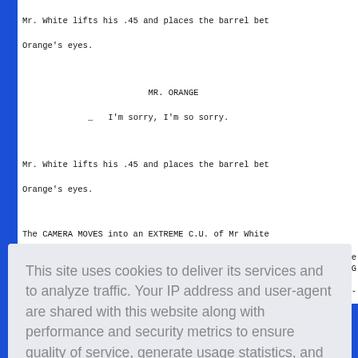Mr. White lifts his .45 and places the barrel bet[ween Mr.] Orange's eyes.
MR. ORANGE
    I'm sorry, I'm so sorry.
Mr. White lifts his .45 and places the barrel bet[ween Mr.] Orange's eyes.
The CAMERA MOVES into an EXTREME C.U. of Mr White[...]
[...] on't see [...] COCKING
- [...]
[...] the trig[ger]
[...] it empty[...]
This site uses cookies to deliver its services and to analyze traffic. Your IP address and user-agent are shared with this website along with performance and security metrics to ensure quality of service, generate usage statistics, and to detect and address abuse.
Learn more
Got it!
3,181,329 visits since (edition) 01-Apr-2004 · Site by Arkana